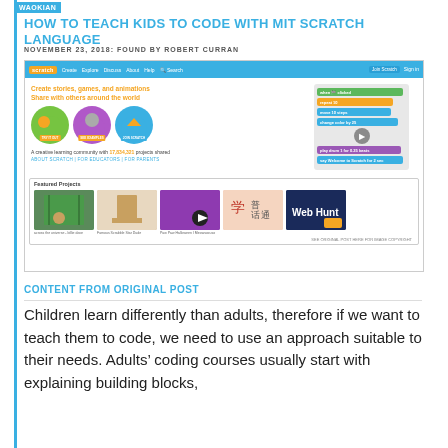WAOKIAN
HOW TO TEACH KIDS TO CODE WITH MIT SCRATCH LANGUAGE
NOVEMBER 23, 2018: FOUND BY ROBERT CURRAN
[Figure (screenshot): Screenshot of the MIT Scratch website homepage showing navigation bar, Create stories games and animations tagline, cartoon characters, code block editor, featured projects section, and copyright note.]
CONTENT FROM ORIGINAL POST
Children learn differently than adults, therefore if we want to teach them to code, we need to use an approach suitable to their needs. Adults&rsquo; coding courses usually start with explaining building blocks,